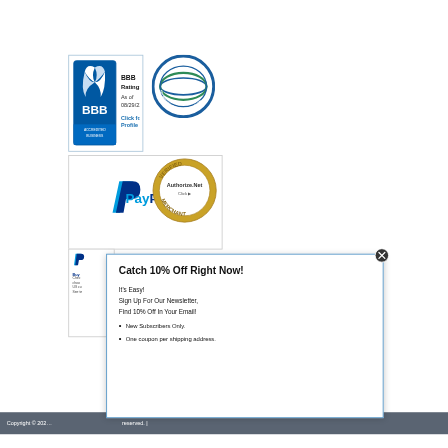[Figure (logo): BBB Accredited Business logo with Rating: A+ As of 08/29/22 Click for Profile]
[Figure (logo): American Sportfishing Association circular logo]
[Figure (logo): PayPal logo in a bordered box]
[Figure (logo): Authorize.Net Verified Merchant circular seal]
[Figure (logo): PayPal partial buy/checkout widget (partially obscured)]
Catch 10% Off Right Now!
It's Easy!
Sign Up For Our Newsletter,
Find 10% Off In Your Email!
New Subscribers Only.
One coupon per shipping address.
Copyright © 202... reserved. |